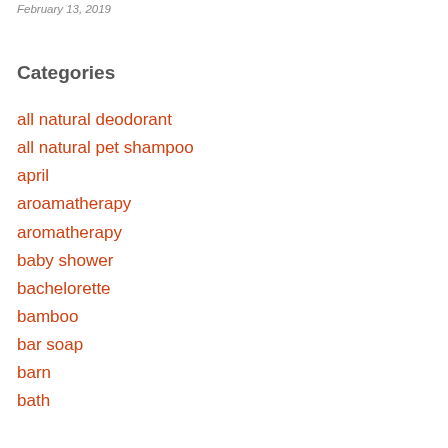February 13, 2019
Categories
all natural deodorant
all natural pet shampoo
april
aroamatherapy
aromatherapy
baby shower
bachelorette
bamboo
bar soap
barn
bath